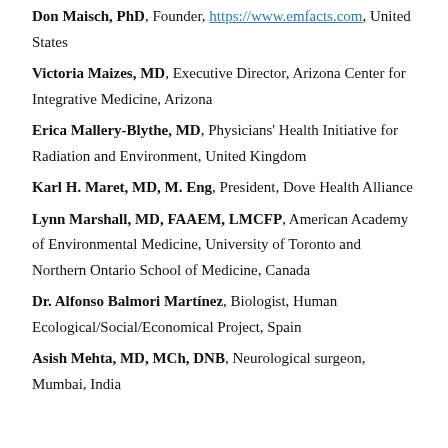Don Maisch, PhD, Founder, https://www.emfacts.com, United States
Victoria Maizes, MD, Executive Director, Arizona Center for Integrative Medicine, Arizona
Erica Mallery-Blythe, MD, Physicians' Health Initiative for Radiation and Environment, United Kingdom
Karl H. Maret, MD, M. Eng, President, Dove Health Alliance
Lynn Marshall, MD, FAAEM, LMCFP, American Academy of Environmental Medicine, University of Toronto and Northern Ontario School of Medicine, Canada
Dr. Alfonso Balmori Martínez, Biologist, Human Ecological/Social/Economical Project, Spain
Asish Mehta, MD, MCh, DNB, Neurological surgeon, Mumbai, India